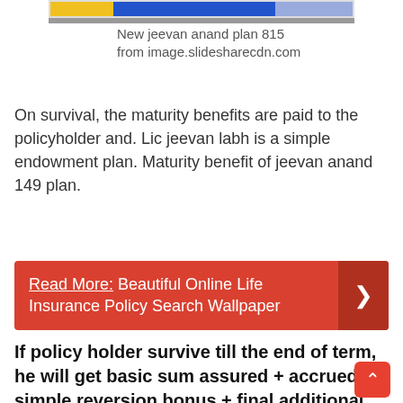[Figure (other): Horizontal bar with yellow and blue sections on gray background strip]
New jeevan anand plan 815 from image.slidesharecdn.com
On survival, the maturity benefits are paid to the policyholder and. Lic jeevan labh is a simple endowment plan. Maturity benefit of jeevan anand 149 plan.
Read More:  Beautiful Online Life Insurance Policy Search Wallpaper
If policy holder survive till the end of term, he will get basic sum assured + accrued simple reversion bonus + final additional bonus as lic new jeevan anand maturity